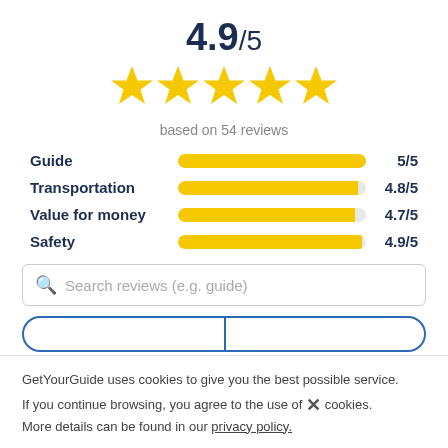4.9/5
[Figure (other): Five yellow star icons in a row representing a 5-star rating]
based on 54 reviews
[Figure (bar-chart): Category ratings]
Search reviews (e.g. guide)
GetYourGuide uses cookies to give you the best possible service. If you continue browsing, you agree to the use of cookies. More details can be found in our privacy policy.